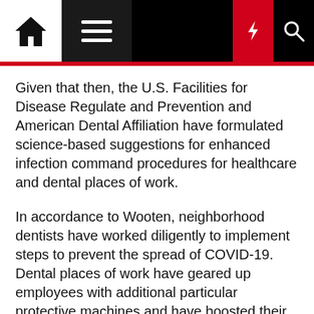[Navigation bar with home, menu, dark mode, flash, and search icons]
Given that then, the U.S. Facilities for Disease Regulate and Prevention and American Dental Affiliation have formulated science-based suggestions for enhanced infection command procedures for healthcare and dental places of work.
In accordance to Wooten, neighborhood dentists have worked diligently to implement steps to prevent the spread of COVID-19. Dental places of work have geared up employees with additional particular protective machines and have boosted their disinfection treatments to maintain patients secure during their visits.
“Dentists have long been leaders in the spot of an infection regulate and dental vendors have